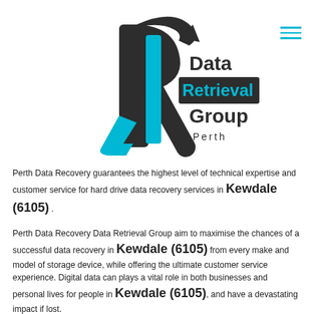[Figure (logo): Data Retrieval Group Perth logo — stylized letter R in dark charcoal with cyan accent, with 'Data Retrieval Group Perth' text beside it]
Perth Data Recovery guarantees the highest level of technical expertise and customer service for hard drive data recovery services in Kewdale (6105) .
Perth Data Recovery Data Retrieval Group aim to maximise the chances of a successful data recovery in Kewdale (6105) from every make and model of storage device, while offering the ultimate customer service experience. Digital data can plays a vital role in both businesses and personal lives for people in Kewdale (6105), and have a devastating impact if lost.
From corporate financials to irreplaceable family photos,